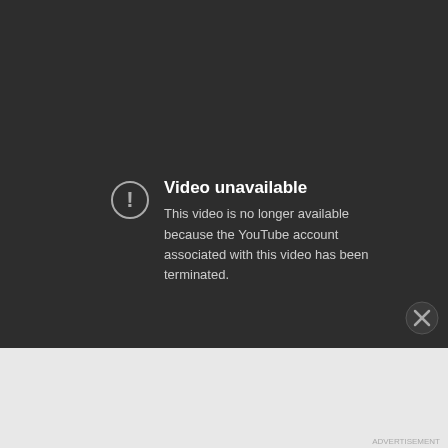[Figure (screenshot): YouTube video unavailable error screen with dark background showing error icon and message]
Video unavailable
This video is no longer available because the YouTube account associated with this video has been terminated.
Advertisements
[Figure (screenshot): Advertisement banner: Launch your online course with WordPress - Learn More button]